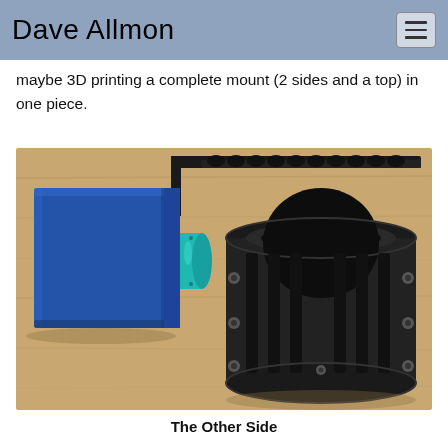Dave Allmon
maybe 3D printing a complete mount (2 sides and a top) in one piece.
[Figure (photo): Photo showing a camera mount assembly with a blue square camera body on the left connected via a teal/cyan cylindrical connector to a black cylindrical telescope focuser ring on the right, with a black bracket/rail visible at the top. The assembly sits on a wooden surface.]
The Other Side